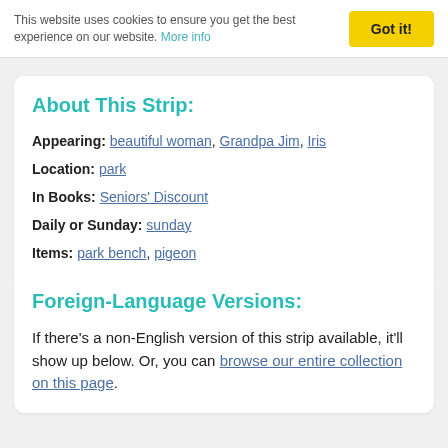This website uses cookies to ensure you get the best experience on our website. More info
About This Strip:
Appearing: beautiful woman, Grandpa Jim, Iris
Location: park
In Books: Seniors' Discount
Daily or Sunday: sunday
Items: park bench, pigeon
Foreign-Language Versions:
If there's a non-English version of this strip available, it'll show up below. Or, you can browse our entire collection on this page.